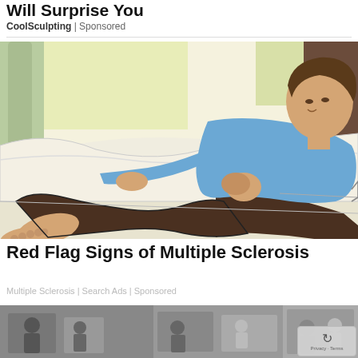Will Surprise You
CoolSculpting | Sponsored
[Figure (illustration): Cartoon-style illustration of a man in a blue shirt and dark brown pants lying on his side on a white bed, appearing to be in discomfort with his hands near his stomach.]
Red Flag Signs of Multiple Sclerosis
Multiple Sclerosis | Search Ads | Sponsored
[Figure (photo): Partial bottom strip showing three cropped photos in grayscale, with a reCAPTCHA badge overlay in the bottom-right corner.]